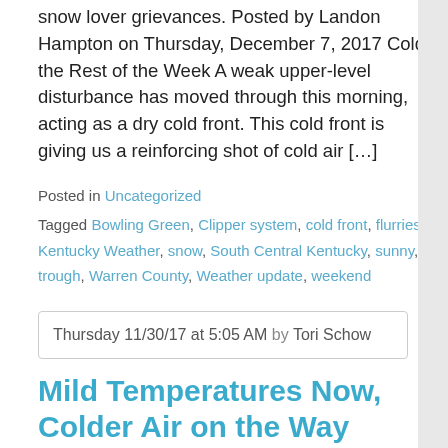snow lover grievances. Posted by Landon Hampton on Thursday, December 7, 2017 Cold the Rest of the Week A weak upper-level disturbance has moved through this morning, acting as a dry cold front. This cold front is giving us a reinforcing shot of cold air [...]
Posted in Uncategorized
Tagged Bowling Green, Clipper system, cold front, flurries, Kentucky Weather, snow, South Central Kentucky, sunny, trough, Warren County, Weather update, weekend
Thursday 11/30/17 at 5:05 AM by Tori Schow
Mild Temperatures Now, Colder Air on the Way
Warm Today   WPC Surface Analysis valid today – Saturday Warmish weather will remain in play today